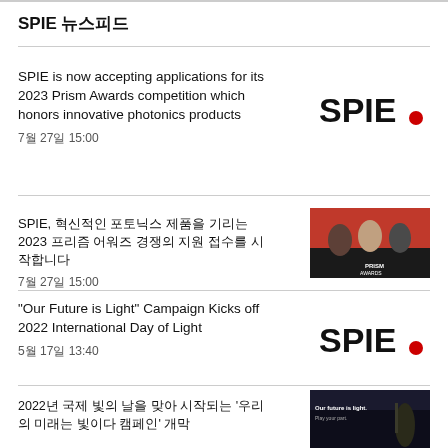SPIE 뉴스피드
SPIE is now accepting applications for its 2023 Prism Awards competition which honors innovative photonics products
7월 27일 15:00
[Figure (logo): SPIE logo with bold text and red dot]
SPIE, 혁신적인 포토닉스 제품을 기리는 2023 프리즘 어워즈 경쟁의 지원 접수를 시작합니다
7월 27일 15:00
[Figure (photo): Photo of people at Prism Awards ceremony on red background]
“Our Future is Light” Campaign Kicks off 2022 International Day of Light
5월 17일 13:40
[Figure (logo): SPIE logo with bold text and red dot]
2022년 국제 빛의 날을 맞아 시작되는 ‘우리의 미래는 빛이다 캠페인’ 개막